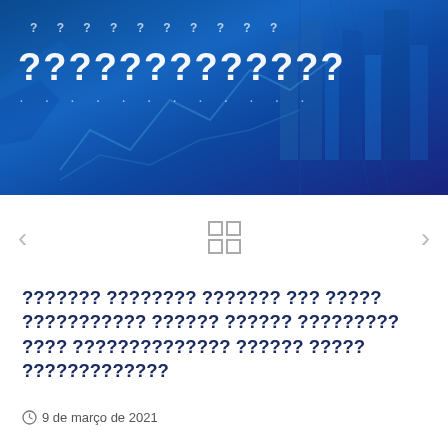[Figure (photo): Blue banner with decorative city/financial chart background and question marks overlay text]
[Figure (infographic): Navigation area with left arrow, 2x2 grid icon, and right arrow]
??????? ???????? ??????? ??? ????? ??????????? ?????? ?????? ????????? ???? ?????????????? ?????? ????? ?????????????
9 de março de 2021